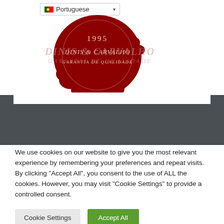[Figure (logo): Dinis & Carvalho wax seal logo with text '1995', 'DINIS & CARVALHO', 'GARANTIA DE QUALIDADE']
We use cookies on our website to give you the most relevant experience by remembering your preferences and repeat visits. By clicking “Accept All”, you consent to the use of ALL the cookies. However, you may visit "Cookie Settings" to provide a controlled consent.
Cookie Settings
Accept All